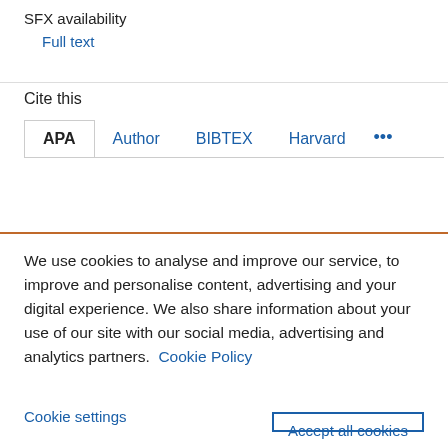SFX availability
Full text
Cite this
APA   Author   BIBTEX   Harvard   ...
We use cookies to analyse and improve our service, to improve and personalise content, advertising and your digital experience. We also share information about your use of our site with our social media, advertising and analytics partners.  Cookie Policy
Cookie settings   Accept all cookies